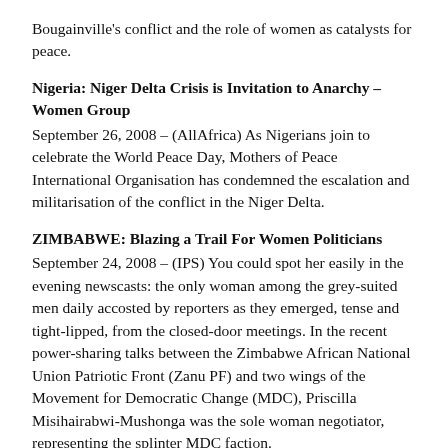Bougainville's conflict and the role of women as catalysts for peace.
Nigeria: Niger Delta Crisis is Invitation to Anarchy – Women Group
September 26, 2008 – (AllAfrica) As Nigerians join to celebrate the World Peace Day, Mothers of Peace International Organisation has condemned the escalation and militarisation of the conflict in the Niger Delta.
ZIMBABWE: Blazing a Trail For Women Politicians
September 24, 2008 – (IPS) You could spot her easily in the evening newscasts: the only woman among the grey-suited men daily accosted by reporters as they emerged, tense and tight-lipped, from the closed-door meetings. In the recent power-sharing talks between the Zimbabwe African National Union Patriotic Front (Zanu PF) and two wings of the Movement for Democratic Change (MDC), Priscilla Misihairabwi-Mushonga was the sole woman negotiator, representing the splinter MDC faction.